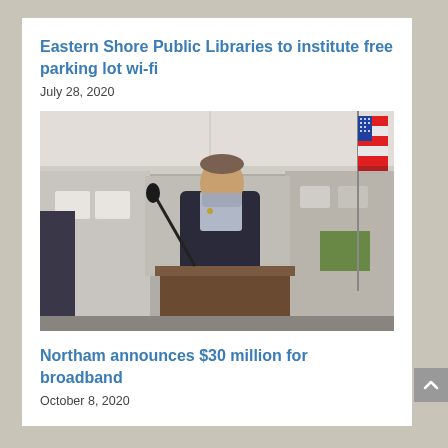Eastern Shore Public Libraries to institute free parking lot wi-fi
July 28, 2020
[Figure (photo): A man in a dark suit speaking at a podium under a white tent with a US flag visible on the right side]
Northam announces $30 million for broadband
October 8, 2020